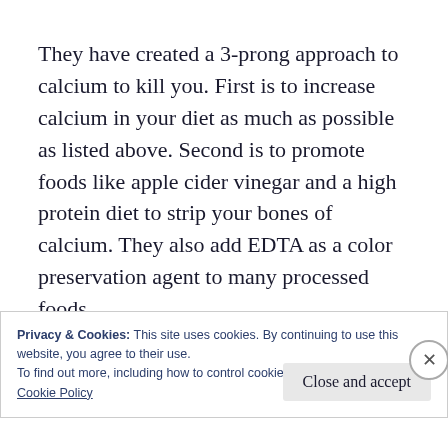They have created a 3-prong approach to calcium to kill you. First is to increase calcium in your diet as much as possible as listed above. Second is to promote foods like apple cider vinegar and a high protein diet to strip your bones of calcium. They also add EDTA as a color preservation agent to many processed foods
Privacy & Cookies: This site uses cookies. By continuing to use this website, you agree to their use.
To find out more, including how to control cookies, see here:
Cookie Policy